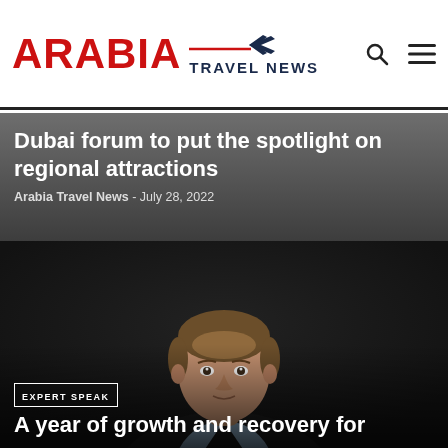ARABIA TRAVEL NEWS
Dubai forum to put the spotlight on regional attractions
Arabia Travel News - July 28, 2022
[Figure (photo): Professional headshot of a man in a dark suit with light blue shirt against a dark background, looking at the camera with a neutral expression.]
EXPERT SPEAK
A year of growth and recovery for